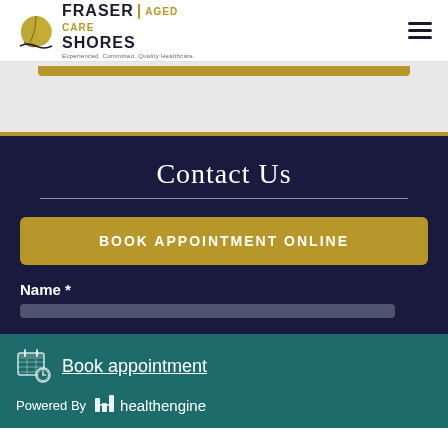[Figure (logo): Fraser Shores medical clinic logo with gold leaf and text]
Contact Us
BOOK APPOINTMENT ONLINE
Name *
Book appointment
Powered By healthengine